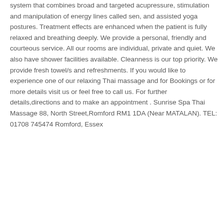system that combines broad and targeted acupressure, stimulation and manipulation of energy lines called sen, and assisted yoga postures. Treatment effects are enhanced when the patient is fully relaxed and breathing deeply. We provide a personal, friendly and courteous service. All our rooms are individual, private and quiet. We also have shower facilities available. Cleanness is our top priority. We provide fresh towel/s and refreshments. If you would like to experience one of our relaxing Thai massage and for Bookings or for more details visit us or feel free to call us. For further details,directions and to make an appointment . Sunrise Spa Thai Massage 88, North Street,Romford RM1 1DA (Near MATALAN). TEL: 01708 745474 Romford, Essex